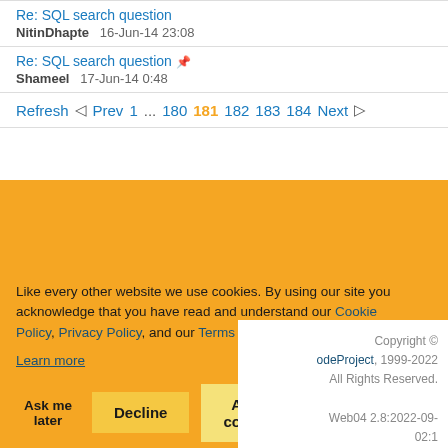Re: SQL search question NitinDhapte 16-Jun-14 23:08
Re: SQL search question Shameel 17-Jun-14 0:48
Refresh ◁ Prev 1 ... 180 181 182 183 184 Next ▷
Like every other website we use cookies. By using our site you acknowledge that you have read and understand our Cookie Policy, Privacy Policy, and our Terms of Service.
Learn more
Ask me later   Decline   Allow cookies
Copyright © odeProject, 1999-2022 All Rights Reserved. Web04 2.8:2022-09- 02:1